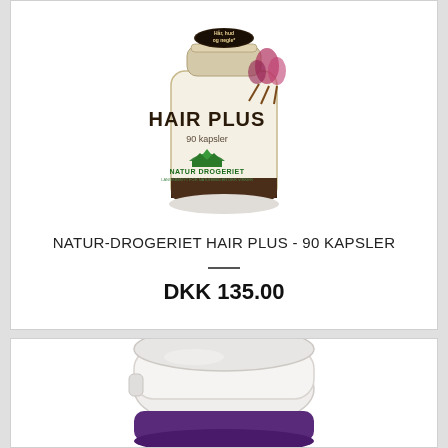[Figure (photo): Natur-Drogeriet Hair Plus 90 kapsler supplement bottle with white/beige label, brown band at bottom, green logo, and botanical decorations at top]
NATUR-DROGERIET HAIR PLUS - 90 KAPSLER
DKK 135.00
[Figure (photo): Partial view of a white supplement jar/container with purple bottom, shown from above at slight angle]